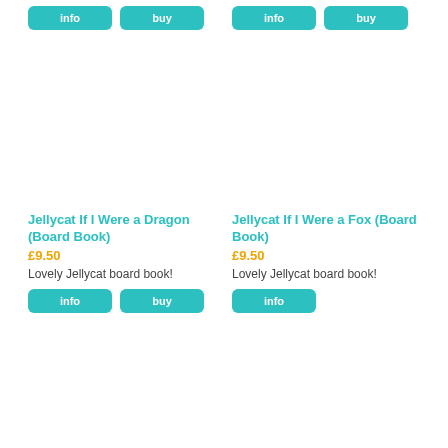[Figure (other): Top info and buy buttons for left product (partially visible above crop)]
[Figure (other): Top info and buy buttons for right product (partially visible above crop)]
[Figure (other): Product image area for Jellycat If I Were a Dragon (Board Book) - blank white]
[Figure (other): Product image area for Jellycat If I Were a Fox (Board Book) - blank white]
Jellycat If I Were a Dragon (Board Book)
£9.50
Lovely Jellycat board book!
Jellycat If I Were a Fox (Board Book)
£9.50
Lovely Jellycat board book!